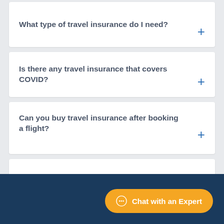What type of travel insurance do I need?
Is there any travel insurance that covers COVID?
Can you buy travel insurance after booking a flight?
When is it too late to buy travel insurance?
Can travel insurance be canceled?
Chat with an Expert